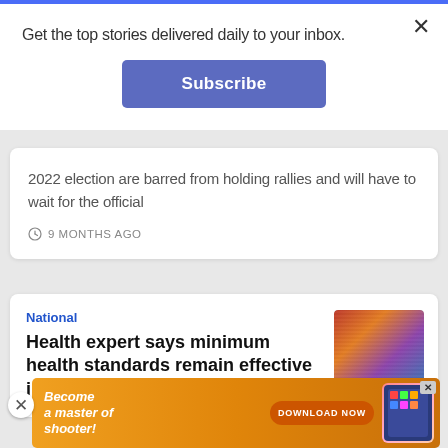Get the top stories delivered daily to your inbox.
Subscribe
2022 election are barred from holding rallies and will have to wait for the official
9 MONTHS AGO
National
Health expert says minimum health standards remain effective in preventing COVID-
[Figure (photo): Crowd of people, some wearing masks]
[Figure (infographic): Mobile game advertisement: Become a master of shooter! DOWNLOAD NOW with colorful game characters]